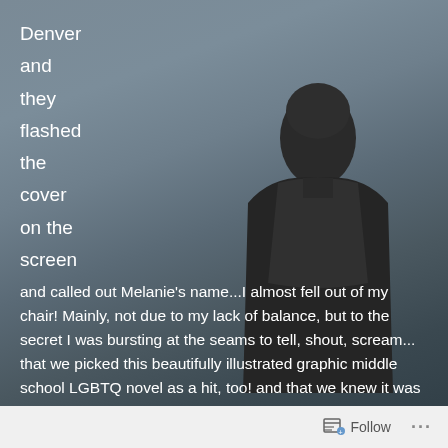Denver
and
they
flashed
the
cover
on the
screen
and called out Melanie's name...I almost fell out of my chair! Mainly, not due to my lack of balance, but to the secret I was bursting at the seams to tell, shout, scream... that we picked this beautifully illustrated graphic middle school LGBTQ novel as a hit, too! and that we knew it was going to get recognition with ALA Annual Awards, too.
[Figure (photo): Silhouette of a person wearing a hooded garment, viewed from behind against a grey misty background suggesting a coastal or lakeside scene.]
When Melanie Gillman wrote this novel, it wasn't just to express the gender bindery our youth are aware of and
Follow  ...